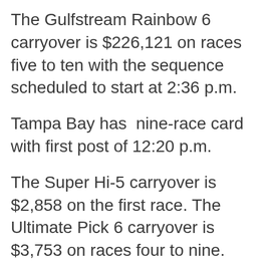The Gulfstream Rainbow 6 carryover is $226,121 on races five to ten with the sequence scheduled to start at 2:36 p.m.
Tampa Bay has  nine-race card with first post of 12:20 p.m.
The Super Hi-5 carryover is $2,858 on the first race. The Ultimate Pick 6 carryover is $3,753 on races four to nine.
Hi-5 Hi...